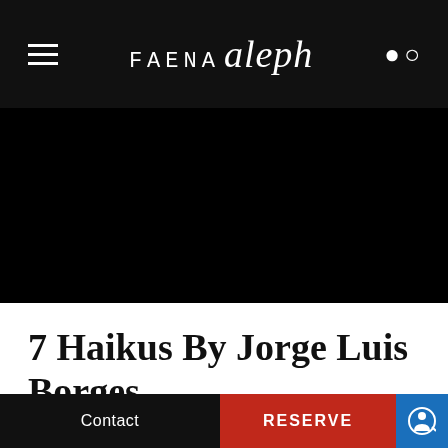FAENA aleph
[Figure (photo): Large black hero image area, full width]
7 Haikus By Jorge Luis Borges
INSPIRE
Contact | RESERVE